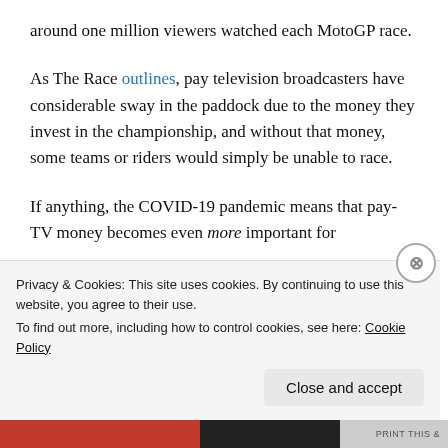around one million viewers watched each MotoGP race.
As The Race outlines, pay television broadcasters have considerable sway in the paddock due to the money they invest in the championship, and without that money, some teams or riders would simply be unable to race.
If anything, the COVID-19 pandemic means that pay-TV money becomes even more important for
Privacy & Cookies: This site uses cookies. By continuing to use this website, you agree to their use.
To find out more, including how to control cookies, see here: Cookie Policy
Close and accept